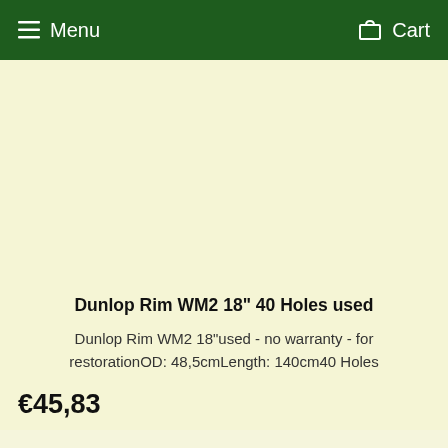Menu  Cart
Dunlop Rim WM2 18" 40 Holes used
Dunlop Rim WM2 18"used - no warranty - for restorationOD: 48,5cmLength: 140cm40 Holes
€45,83